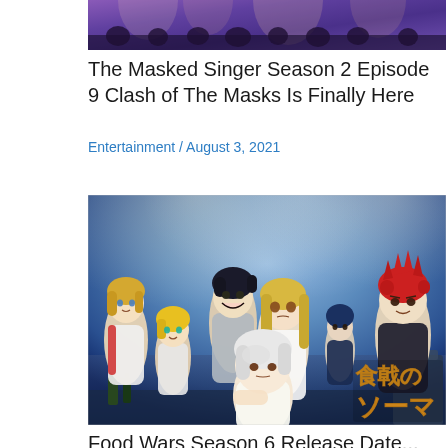[Figure (photo): Top portion of an image showing The Masked Singer stage with purple/violet lighting]
The Masked Singer Season 2 Episode 9 Clash of The Masks Is Finally Here
Entertainment / August 3, 2021
[Figure (photo): Anime illustration from Food Wars (Shokugeki no Soma) showing multiple anime characters including a blonde character, blue-haired character, girl with long blonde hair, red-haired character, and white-haired character in the foreground, with the Food Wars Japanese logo in the bottom right corner]
Food Wars Season 6 Release Date...